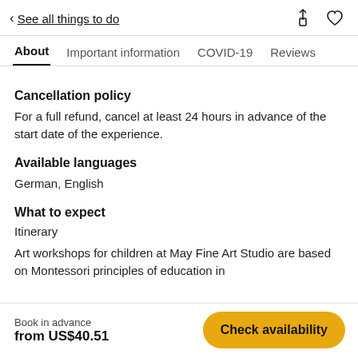< See all things to do
About  Important information  COVID-19  Reviews
Cancellation policy
For a full refund, cancel at least 24 hours in advance of the start date of the experience.
Available languages
German, English
What to expect
Itinerary
Art workshops for children at May Fine Art Studio are based on Montessori principles of education in
Book in advance
from US$40.51
Check availability